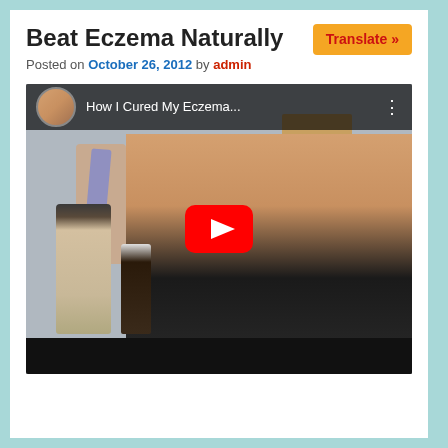Beat Eczema Naturally
Posted on October 26, 2012 by admin
[Figure (screenshot): YouTube video thumbnail showing a young woman holding apple cider vinegar bottles, with YouTube play button overlay. Video title: 'How I Cured My Eczema']